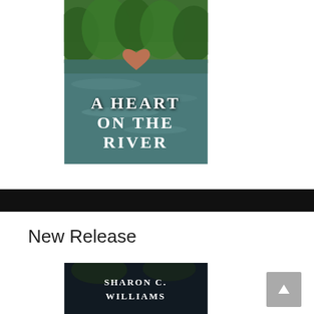[Figure (illustration): Book cover for 'A Heart on the River' showing a river scene with green trees, water, a heart-shaped rock floating in the river, with bold white text overlay reading 'A HEART ON THE RIVER']
New Release
[Figure (illustration): Bottom portion of a book cover with dark background and white text reading 'SHARON C. WILLIAMS']